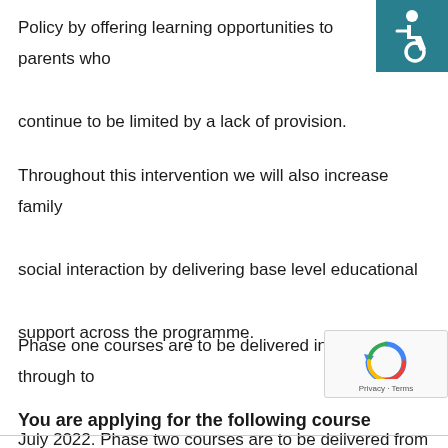Policy by offering learning opportunities to parents who continue to be limited by a lack of provision.
[Figure (illustration): Accessibility icon — white wheelchair user symbol on teal/dark cyan background square]
Throughout this intervention we will also increase family social interaction by delivering base level educational support across the programme.
Phase one courses are to be delivered in March through to July 2022. Phase two courses are to be delivered from September through to December 2022
[Figure (other): reCAPTCHA badge with circular arrow icon and Privacy · Terms text]
You are applying for the following course